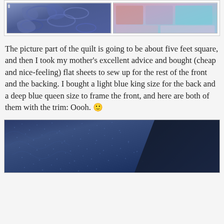[Figure (photo): Two photos side by side: left shows blue floral/leaf patterned fabric, right shows pink, purple, and teal patterned fabric swatches]
The picture part of the quilt is going to be about five feet square, and then I took my mother's excellent advice and bought (cheap and nice-feeling) flat sheets to sew up for the rest of the front and the backing. I bought a light blue king size for the back and a deep blue queen size to frame the front, and here are both of them with the trim: Oooh. 🙂
[Figure (photo): Close-up photo of deep blue patterned fabric with small white/light floral print, next to a dark solid navy fabric]